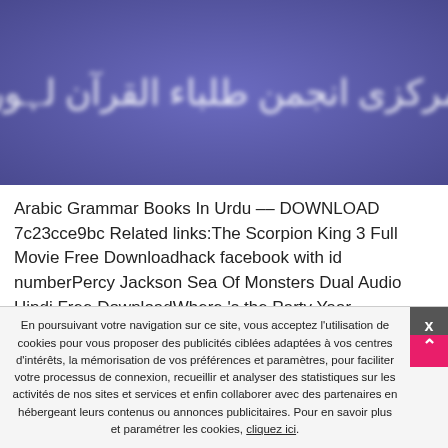[Figure (photo): Blue/purple background image with white Arabic/Urdu script text in the center, blurred appearance]
Arabic Grammar Books In Urdu –– DOWNLOAD 7c23cce9bc Related links:The Scorpion King 3 Full Movie Free Downloadhack facebook with id numberPercy Jackson Sea Of Monsters Dual Audio Hindi Free DownloadWhere 's the Party Yaar malayalam full movie hd 1080pVirtual DJ Pro 7.4 full version serial key Crack
En poursuivant votre navigation sur ce site, vous acceptez l'utilisation de cookies pour vous proposer des publicités ciblées adaptées à vos centres d'intérêts, la mémorisation de vos préférences et paramètres, pour faciliter votre processus de connexion, recueillir et analyser des statistiques sur les activités de nos sites et services et enfin collaborer avec des partenaires en hébergeant leurs contenus ou annonces publicitaires. Pour en savoir plus et paramétrer les cookies, cliquez ici.